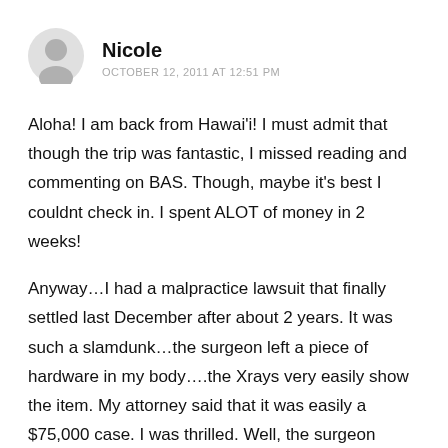[Figure (illustration): Generic user avatar icon — grey silhouette of a person's head and shoulders on a light grey circular background]
Nicole
OCTOBER 12, 2011 AT 12:51 PM
Aloha! I am back from Hawai'i! I must admit that though the trip was fantastic, I missed reading and commenting on BAS. Though, maybe it's best I couldnt check in. I spent ALOT of money in 2 weeks!
Anyway…I had a malpractice lawsuit that finally settled last December after about 2 years. It was such a slamdunk…the surgeon left a piece of hardware in my body….the Xrays very easily show the item. My attorney said that it was easily a $75,000 case. I was thrilled. Well, the surgeon